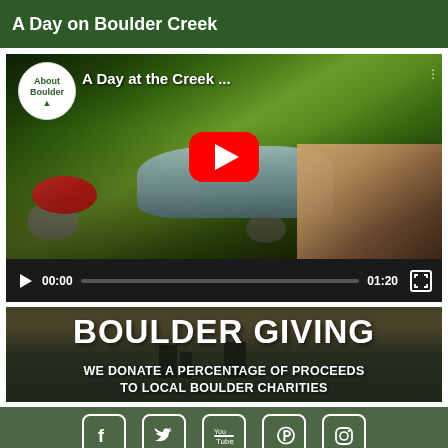A Day on Boulder Creek
[Figure (screenshot): YouTube video screenshot showing people at Boulder Creek with red inflatable tube. Title reads 'A Day at the Creek...' with About Boulder badge. Video controls show 00:00 / 01:20 duration.]
[Figure (photo): Banner image with Boulder city skyline at sunset overlaid with text: 'BOULDER GIVING - WE DONATE A PERCENTAGE OF PROCEEDS TO LOCAL BOULDER CHARITIES']
[Figure (other): Social media icons bar showing Facebook, Twitter, YouTube, Pinterest, and Instagram icons on dark green background]